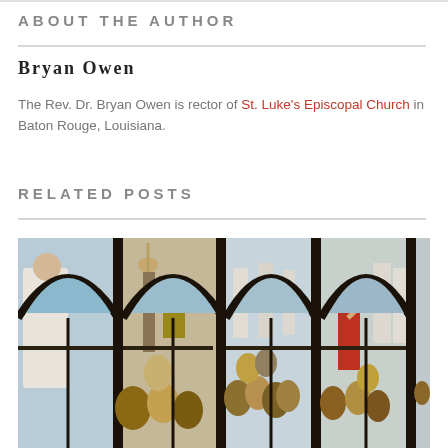ABOUT THE AUTHOR
Bryan Owen
The Rev. Dr. Bryan Owen is rector of St. Luke's Episcopal Church in Baton Rouge, Louisiana.
RELATED POSTS
[Figure (photo): Stained glass window depicting biblical scenes with figures including soldiers and a central robed figure gesturing to a crowd, rendered in colorful glass panels with dark lead dividers.]